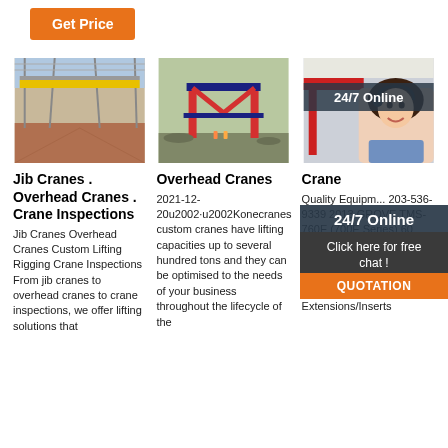[Figure (other): Orange 'Get Price' button at top left]
[Figure (photo): Interior of industrial warehouse with yellow overhead crane on ceiling rails]
[Figure (photo): Large red and blue gantry crane on construction site outdoors]
[Figure (photo): Industrial crane equipment with 24/7 Online overlay and customer service representative]
Jib Cranes . Overhead Cranes . Crane Inspections
Jib Cranes Overhead Cranes Custom Lifting Rigging Crane Inspections From jib cranes to overhead cranes to crane inspections, we offer lifting solutions that
Overhead Cranes
2021-12-20u2002·u2002Konecranes custom cranes have lifting capacities up to several hundred tons and they can be optimised to the needs of your business throughout the lifecycle of the
Crane
Quality Equipm... 203-536-9339 2013 GROVE TMS-760E (700E Series) 60 TON Hydraulic Truck Crane Boom: 110 Feet full power Megaform. Jib: 56 Feet. Plus (2) 20' Jib Extensions/Inserts
[Figure (other): 24/7 Online overlay panel with Click here for free chat and QUOTATION button]